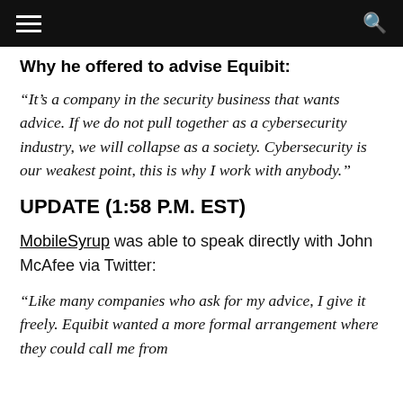[navigation bar with hamburger menu and search icon]
Why he offered to advise Equibit:
“It’s a company in the security business that wants advice. If we do not pull together as a cybersecurity industry, we will collapse as a society. Cybersecurity is our weakest point, this is why I work with anybody.”
UPDATE (1:58 P.M. EST)
MobileSyrup was able to speak directly with John McAfee via Twitter:
“Like many companies who ask for my advice, I give it freely. Equibit wanted a more formal arrangement where they could call me from